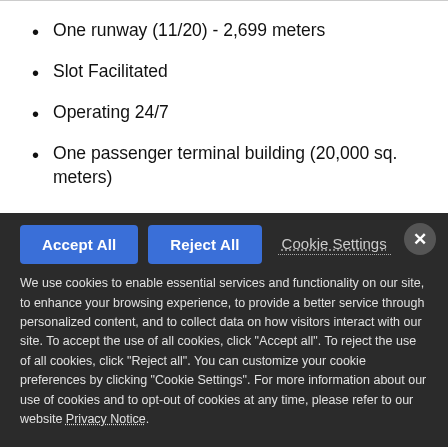One runway (11/20) - 2,699 meters
Slot Facilitated
Operating 24/7
One passenger terminal building (20,000 sq. meters)
Accept All  Reject All  Cookie Settings
We use cookies to enable essential services and functionality on our site, to enhance your browsing experience, to provide a better service through personalized content, and to collect data on how visitors interact with our site. To accept the use of all cookies, click "Accept all". To reject the use of all cookies, click "Reject all". You can customize your cookie preferences by clicking "Cookie Settings". For more information about our use of cookies and to opt-out of cookies at any time, please refer to our website Privacy Notice.